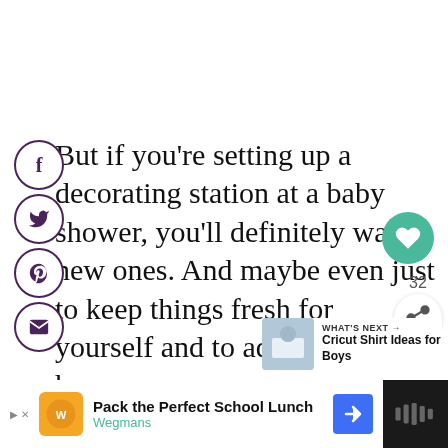[Figure (infographic): Social share buttons on left side: Facebook (f), Twitter (bird), Pinterest (P), Email (envelope) — each in a circular outline with dark purple border.]
But if you’re setting up a decorating station at a baby shower, you’ll definitely want new ones. And maybe even just to keep things fresh for yourself and to add to what you have.
[Figure (infographic): Green circular heart/save button on right side, and a share count '32' with a share icon button below it.]
[Figure (infographic): What's Next widget showing a thumbnail image and text: 'WHAT’S NEXT → Cricut Shirt Ideas for Boys']
[Figure (infographic): Advertisement banner at bottom: 'Pack the Perfect School Lunch' / Wegmans with logo, play button, blue arrow, and dark right panel with sound/audio icon.]